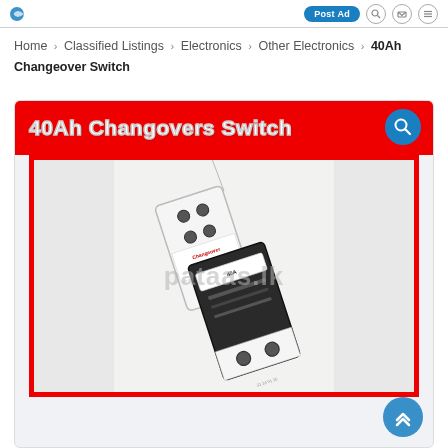pataas.lk header with Post Ad button and icons
Home > Classified Listings > Electronics > Other Electronics > 40Ah Changeover Switch
[Figure (photo): Product listing image for 40Ah Changeovers Switch on pataas.lk. Red banner at top with white outlined text '40Ah Changovers Switch' and a blue search icon. Below is a photo of a 40A changeover/circuit breaker switch on a white surface with a pataas.lk watermark overlay. Blue scroll-to-top button at bottom right.]